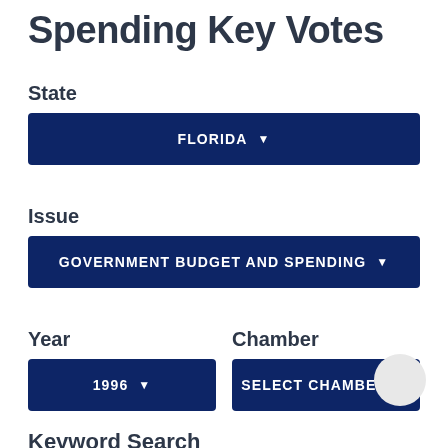Spending Key Votes
State
FLORIDA
Issue
GOVERNMENT BUDGET AND SPENDING
Year
1996
Chamber
SELECT CHAMBER
Keyword Search